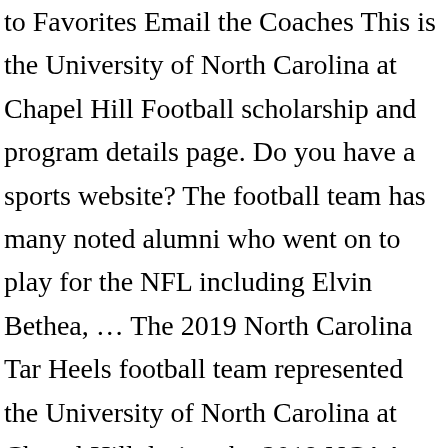to Favorites Email the Coaches This is the University of North Carolina at Chapel Hill Football scholarship and program details page. Do you have a sports website? The football team has many noted alumni who went on to play for the NFL including Elvin Bethea, … The 2019 North Carolina Tar Heels football team represented the University of North Carolina at Chapel Hill during the 2019 NCAA Division I FBS football season. Subscribe to our Free Newsletter, This Month in Sports ReferenceFind out when we add a feature or make a change. North Carolina Tar Heels Logo